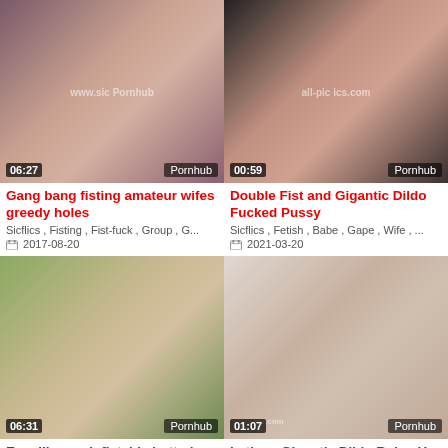[Figure (screenshot): Video thumbnail 1: Gang bang fisting amateur wifes greedy holes, duration 06:27, Pornhub]
[Figure (screenshot): Video thumbnail 2: Double Fist and Gigantic Dildo Fucked Pussy, duration 00:59, Pornhub]
Gang bang fisting amateur wifes greedy holes
Double Fist and Gigantic Dildo Fucked Pussy
Sicflics , Fisting , Fist-fuck , Group , G...
Sicflics , Fetish , Babe , Gape , Wife , ...
2017-08-20
2021-03-20
[Figure (screenshot): Video thumbnail 3: Expelling an inflatable butt plug and anal gape, duration 06:31, Pornhub]
[Figure (screenshot): Video thumbnail 4: Latinas Gigantic Dildo Ruins Her Pussy, duration 01:07, Pornhub]
Expelling an inflatable butt plug and anal gape
Latinas Gigantic Dildo Ruins Her Pussy
Ass-fuck , Kink , Adult-toys , Chubby
Sicflics , Prolapse , Dildo , Insertion